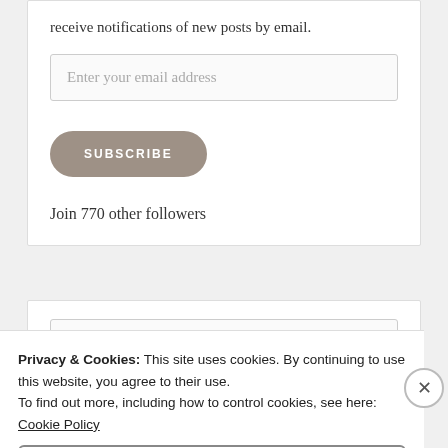receive notifications of new posts by email.
Enter your email address
SUBSCRIBE
Join 770 other followers
Privacy & Cookies: This site uses cookies. By continuing to use this website, you agree to their use. To find out more, including how to control cookies, see here: Cookie Policy
Close and accept